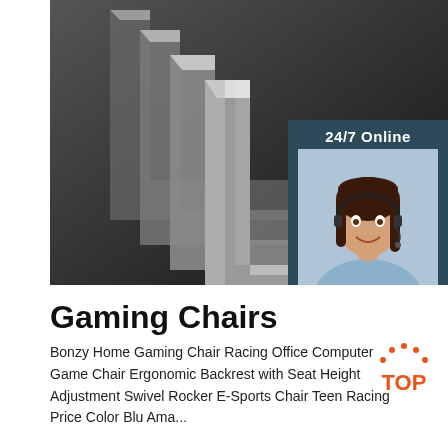[Figure (photo): Photo of stacked steel angle bars/L-shaped metal profiles arranged in a row, dark metallic background. Overlaid with a 24/7 online chat widget showing a woman with a headset, 'Click here for free chat!' text, and an orange QUOTATION button.]
Gaming Chairs
Bonzy Home Gaming Chair Racing Office Computer Game Chair Ergonomic Backrest with Seat Height Adjustment Swivel Rocker E-Sports Chair Teen Racing Price Color Blu Ama...